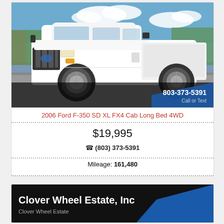[Figure (photo): White 2006 Ford F-350 SD XL FX4 Crew Cab Long Bed 4WD pickup truck in a parking lot, front three-quarter view. Phone number 803-373-5391 Call or Text overlaid on bottom right of image.]
2006 Ford F-350 SD XL FX4 Cab Long Bed 4WD
$19,995
(803) 373-5391
Mileage: 161,480
[Figure (logo): Clover Wheel Estate, Inc dealership logo/header on black background with blue diagonal stripe]